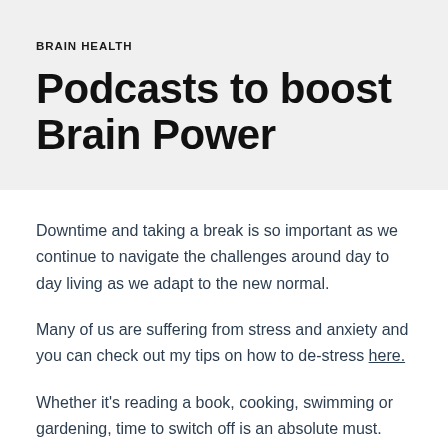BRAIN HEALTH
Podcasts to boost Brain Power
Downtime and taking a break is so important as we continue to navigate the challenges around day to day living as we adapt to the new normal.
Many of us are suffering from stress and anxiety and you can check out my tips on how to de-stress here.
Whether it's reading a book, cooking, swimming or gardening, time to switch off is an absolute must.